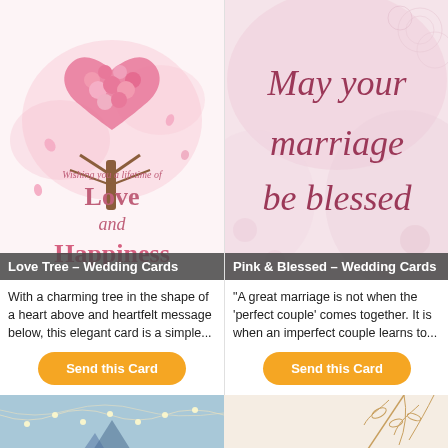[Figure (illustration): Wedding card with a cherry blossom tree shaped like a heart, pink flowers, script text 'Wishing you a lifetime of' and large decorative text 'Love and Happiness']
Love Tree – Wedding Cards
With a charming tree in the shape of a heart above and heartfelt message below, this elegant card is a simple...
[Figure (illustration): Pink soft-focus background with script text 'May your marriage be blessed' in dark rose/burgundy color]
Pink & Blessed – Wedding Cards
“A great marriage is not when the ‘perfect couple’ comes together. It is when an imperfect couple learns to...
[Figure (illustration): Bottom left partial card: light blue background with string lights and a tent/marquee silhouette]
[Figure (illustration): Bottom right partial card: peach/blush background with gold botanical leaf line art]